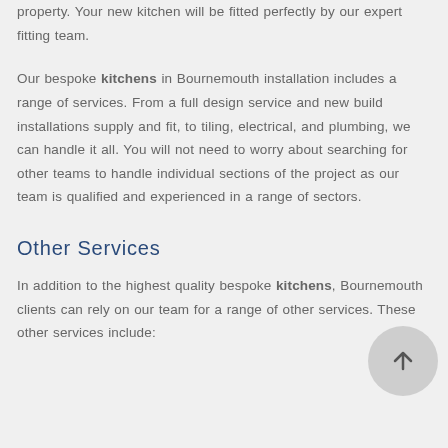property. Your new kitchen will be fitted perfectly by our expert fitting team.
Our bespoke kitchens in Bournemouth installation includes a range of services. From a full design service and new build installations supply and fit, to tiling, electrical, and plumbing, we can handle it all. You will not need to worry about searching for other teams to handle individual sections of the project as our team is qualified and experienced in a range of sectors.
Other Services
In addition to the highest quality bespoke kitchens, Bournemouth clients can rely on our team for a range of other services. These other services include: